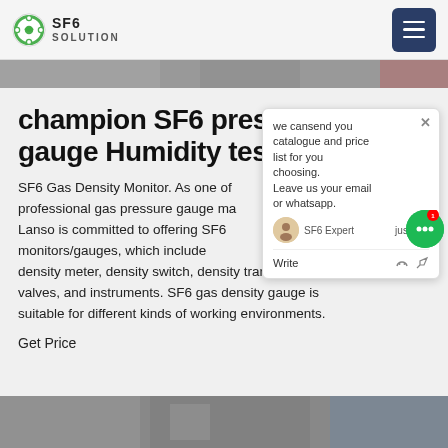SF6 SOLUTION
champion SF6 pressure gauge Humidity test p
SF6 Gas Density Monitor. As one of professional gas pressure gauge manufacturers, Lanso is committed to offering SF6 monitors/gauges, which includes density meter, density switch, density transmitter, valves, and instruments. SF6 gas density gauge is suitable for different kinds of working environments.
Get Price
[Figure (screenshot): Chat popup with message: we cansend you catalogue and price list for you choosing. Leave us your email or whatsapp. SF6 Expert justnow. Write.]
[Figure (photo): Top partial image strip of industrial equipment]
[Figure (photo): Bottom partial image strip of industrial/factory environment]